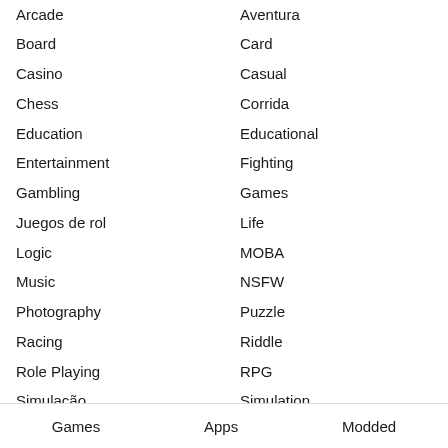Arcade
Aventura
Board
Card
Casino
Casual
Chess
Corrida
Education
Educational
Entertainment
Fighting
Gambling
Games
Juegos de rol
Life
Logic
MOBA
Music
NSFW
Photography
Puzzle
Racing
Riddle
Role Playing
RPG
Simulação
Simulation
Sport
Sports
Games    Apps    Modded